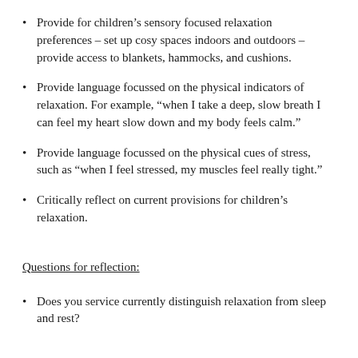Provide for children’s sensory focused relaxation preferences – set up cosy spaces indoors and outdoors – provide access to blankets, hammocks, and cushions.
Provide language focussed on the physical indicators of relaxation. For example, “when I take a deep, slow breath I can feel my heart slow down and my body feels calm.”
Provide language focussed on the physical cues of stress, such as “when I feel stressed, my muscles feel really tight.”
Critically reflect on current provisions for children’s relaxation.
Questions for reflection:
Does you service currently distinguish relaxation from sleep and rest?